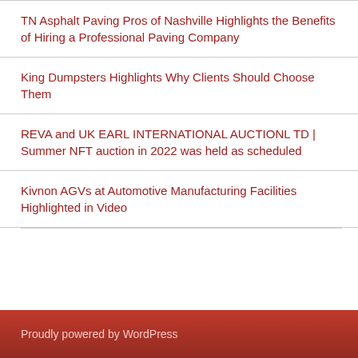TN Asphalt Paving Pros of Nashville Highlights the Benefits of Hiring a Professional Paving Company
King Dumpsters Highlights Why Clients Should Choose Them
REVA and UK EARL INTERNATIONAL AUCTIONL TD | Summer NFT auction in 2022 was held as scheduled
Kivnon AGVs at Automotive Manufacturing Facilities Highlighted in Video
Proudly powered by WordPress